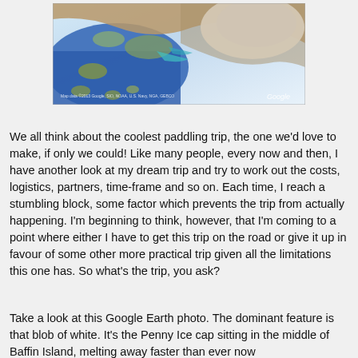[Figure (map): Google Earth satellite photo showing Baffin Island area with Penny Ice Cap (white blob), blue ocean/water, and mixed terrain. Google watermark visible in bottom right corner.]
We all think about the coolest paddling trip, the one we'd love to make, if only we could! Like many people, every now and then, I have another look at my dream trip and try to work out the costs, logistics, partners, time-frame and so on. Each time, I reach a stumbling block, some factor which prevents the trip from actually happening. I'm beginning to think, however, that I'm coming to a point where either I have to get this trip on the road or give it up in favour of some other more practical trip given all the limitations this one has. So what's the trip, you ask?
Take a look at this Google Earth photo. The dominant feature is that blob of white. It's the Penny Ice cap sitting in the middle of Baffin Island, melting away faster than ever now